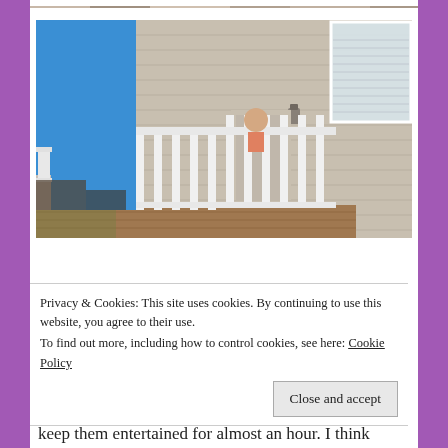[Figure (photo): Top strip of a photo partially visible at the very top of the page, cropped]
[Figure (photo): Photograph of a house deck/balcony with white railing against a blue sky background, beige siding visible]
Privacy & Cookies: This site uses cookies. By continuing to use this website, you agree to their use.
To find out more, including how to control cookies, see here: Cookie Policy
Close and accept
keep them entertained for almost an hour. I think